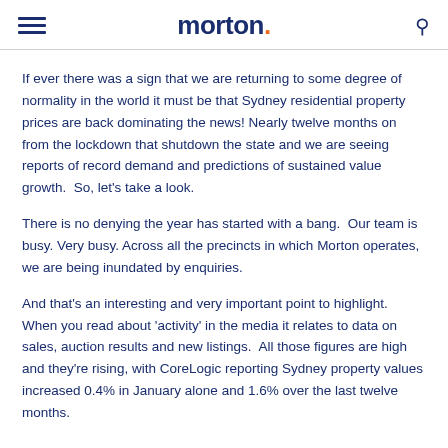morton.
If ever there was a sign that we are returning to some degree of normality in the world it must be that Sydney residential property prices are back dominating the news! Nearly twelve months on from the lockdown that shutdown the state and we are seeing reports of record demand and predictions of sustained value growth.  So, let's take a look.
There is no denying the year has started with a bang.  Our team is busy. Very busy. Across all the precincts in which Morton operates, we are being inundated by enquiries.
And that's an interesting and very important point to highlight.  When you read about 'activity' in the media it relates to data on sales, auction results and new listings.  All those figures are high and they're rising, with CoreLogic reporting Sydney property values increased 0.4% in January alone and 1.6% over the last twelve months.